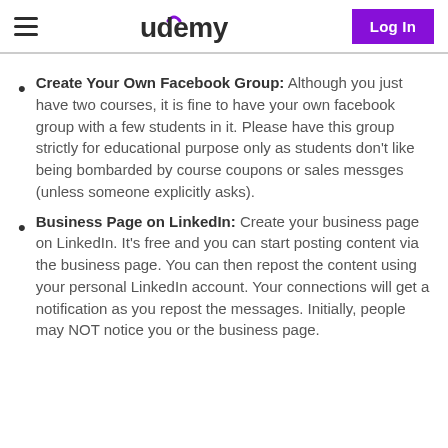Udemy — Log In
Create Your Own Facebook Group: Although you just have two courses, it is fine to have your own facebook group with a few students in it. Please have this group strictly for educational purpose only as students don't like being bombarded by course coupons or sales messges (unless someone explicitly asks).
Business Page on LinkedIn: Create your business page on LinkedIn. It's free and you can start posting content via the business page. You can then repost the content using your personal LinkedIn account. Your connections will get a notification as you repost the messages. Initially, people may NOT notice you or the business page.